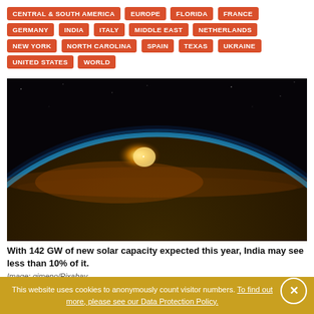CENTRAL & SOUTH AMERICA
EUROPE
FLORIDA
FRANCE
GERMANY
INDIA
ITALY
MIDDLE EAST
NETHERLANDS
NEW YORK
NORTH CAROLINA
SPAIN
TEXAS
UKRAINE
UNITED STATES
WORLD
[Figure (photo): Space view of Earth from orbit showing the curve of the planet with a bright sun rising above the horizon, blue atmospheric glow, dark space background]
With 142 GW of new solar capacity expected this year, India may see less than 10% of it.
Image: gimeno/Pixabay
This website uses cookies to anonymously count visitor numbers. To find out more, please see our Data Protection Policy.